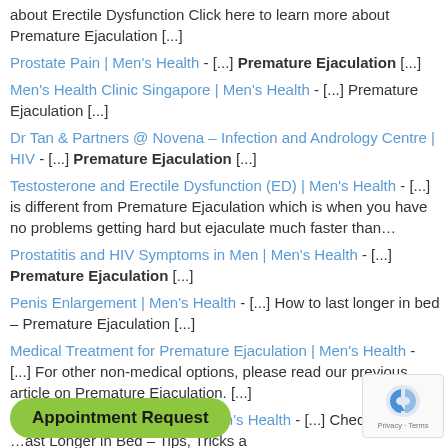about Erectile Dysfunction Click here to learn more about Premature Ejaculation [...]
Prostate Pain | Men's Health - [...] Premature Ejaculation [...]
Men's Health Clinic Singapore | Men's Health - [...] Premature Ejaculation [...]
Dr Tan & Partners @ Novena – Infection and Andrology Centre | HIV - [...] Premature Ejaculation [...]
Testosterone and Erectile Dysfunction (ED) | Men's Health - [...] is different from Premature Ejaculation which is when you have no problems getting hard but ejaculate much faster than...
Prostatitis and HIV Symptoms in Men | Men's Health - [...] Premature Ejaculation [...]
Penis Enlargement | Men's Health - [...] How to last longer in bed – Premature Ejaculation [...]
Medical Treatment for Premature Ejaculation | Men's Health - [...] For other non-medical options, please read our previous article on Premature Ejaculation. [...]
Premature Ejaculation (PE) | Men's Health - [...] Check out last Longer in Bed – Tips, Tricks and Premature Ejaculation...